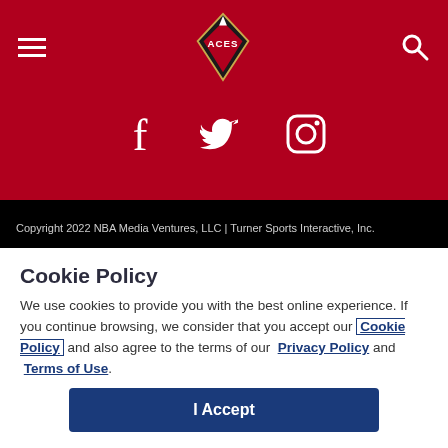[Figure (screenshot): Las Vegas Aces website header with red background, hamburger menu icon on left, Aces diamond logo in center, search icon on right, and social media icons (Facebook, Twitter, Instagram) below]
Copyright 2022 NBA Media Ventures, LLC | Turner Sports Interactive, Inc.
Cookie Policy
We use cookies to provide you with the best online experience. If you continue browsing, we consider that you accept our Cookie Policy and also agree to the terms of our Privacy Policy and Terms of Use.
I Accept